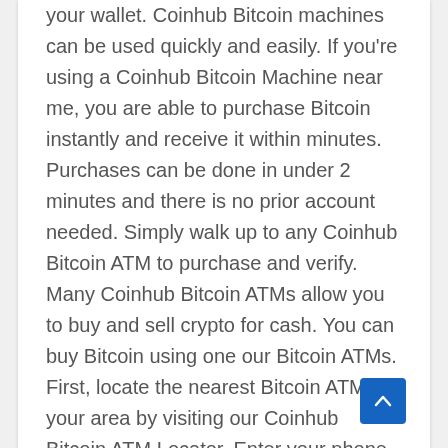your wallet. Coinhub Bitcoin machines can be used quickly and easily. If you're using a Coinhub Bitcoin Machine near me, you are able to purchase Bitcoin instantly and receive it within minutes. Purchases can be done in under 2 minutes and there is no prior account needed. Simply walk up to any Coinhub Bitcoin ATM to purchase and verify. Many Coinhub Bitcoin ATMs allow you to buy and sell crypto for cash. You can buy Bitcoin using one our Bitcoin ATMs. First, locate the nearest Bitcoin ATM in your area by visiting our Coinhub Bitcoin ATM Locator. Enter your phone number and walk up to the machine. The machine will verify your phone using a code and scan the bitcoin wallet. Enter bills one bill at a time for the amount you would like to purchase and confirm the bitcoin atm prior to purchase. Bitcoin is then instantly sent to your wallet. The daily limit for buying Bitcoin is $25,000. We have Bitcoin Machines conveniently placed throughout